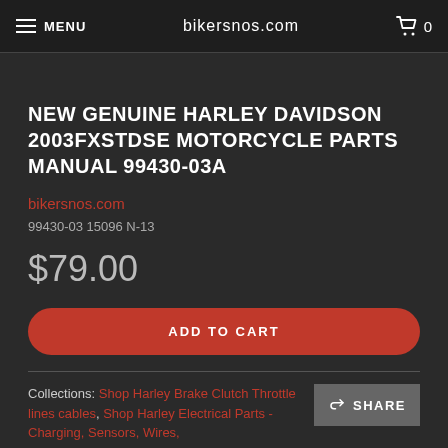MENU   bikersnos.com   0
NEW GENUINE HARLEY DAVIDSON 2003FXSTDSE MOTORCYCLE PARTS MANUAL 99430-03A
bikersnos.com
99430-03 15096 N-13
$79.00
ADD TO CART
Collections: Shop Harley Brake Clutch Throttle lines cables, Shop Harley Electrical Parts - Charging, Sensors, Wires,
SHARE